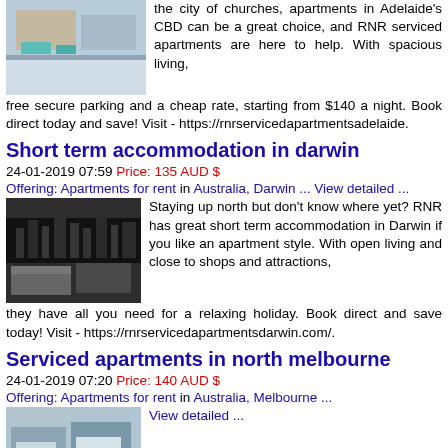the city of churches, apartments in Adelaide's CBD can be a great choice, and RNR serviced apartments are here to help. With spacious living, free secure parking and a cheap rate, starting from $140 a night. Book direct today and save! Visit - https://rnrservicedapartmentsadelaide.
Short term accommodation in darwin
24-01-2019 07:59 Price: 135 AUD $
Offering: Apartments for rent in Australia, Darwin ... View detailed ...
[Figure (photo): Interior photo of a modern Darwin apartment with dark feature wall and open living area]
Staying up north but don't know where yet? RNR has great short term accommodation in Darwin if you like an apartment style. With open living and close to shops and attractions, they have all you need for a relaxing holiday. Book direct and save today! Visit - https://rnrservicedapartmentsdarwin.com/.
Serviced apartments in north melbourne
24-01-2019 07:20 Price: 140 AUD $
Offering: Apartments for rent in Australia, Melbourne ...
[Figure (photo): Interior photo of a Melbourne apartment]
View detailed ...